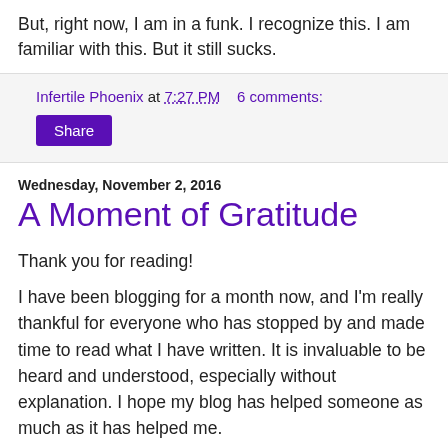But, right now, I am in a funk. I recognize this. I am familiar with this. But it still sucks.
Infertile Phoenix at 7:27 PM   6 comments:
Share
Wednesday, November 2, 2016
A Moment of Gratitude
Thank you for reading!
I have been blogging for a month now, and I'm really thankful for everyone who has stopped by and made time to read what I have written. It is invaluable to be heard and understood, especially without explanation. I hope my blog has helped someone as much as it has helped me.
I didn't realize I had so much to say! Hahaha. For the past six months I've felt like I've been healing and I thought that